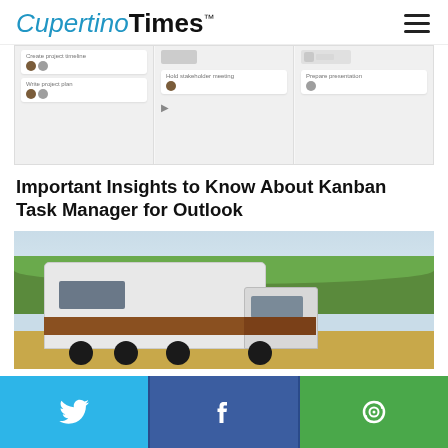CupertinoTimes™
[Figure (screenshot): Kanban board screenshot showing task cards: 'Create project timeline', 'Write project plan', 'Hold stakeholder meeting', 'Prepare presentation' with user avatars]
Important Insights to Know About Kanban Task Manager for Outlook
[Figure (photo): Photo of a large white semi-truck with brown stripe driving through a rural landscape with trees in background]
[Figure (infographic): Social sharing bar with Twitter (blue), Facebook (dark blue), and share/camera (green) buttons]